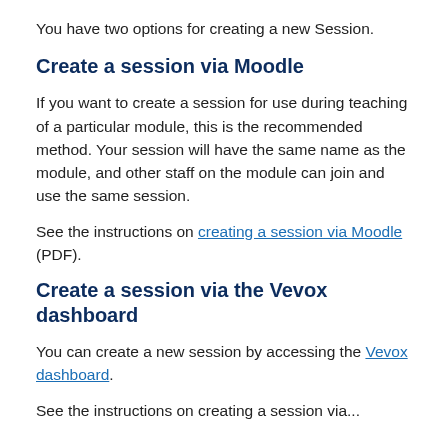You have two options for creating a new Session.
Create a session via Moodle
If you want to create a session for use during teaching of a particular module, this is the recommended method. Your session will have the same name as the module, and other staff on the module can join and use the same session.
See the instructions on creating a session via Moodle (PDF).
Create a session via the Vevox dashboard
You can create a new session by accessing the Vevox dashboard.
See the instructions on creating a session via...